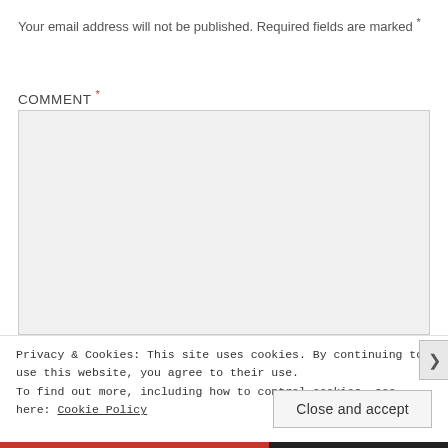Your email address will not be published. Required fields are marked *
COMMENT *
[Figure (other): Empty comment text area input box with light gray background]
Privacy & Cookies: This site uses cookies. By continuing to use this website, you agree to their use.
To find out more, including how to control cookies, see here: Cookie Policy
Close and accept